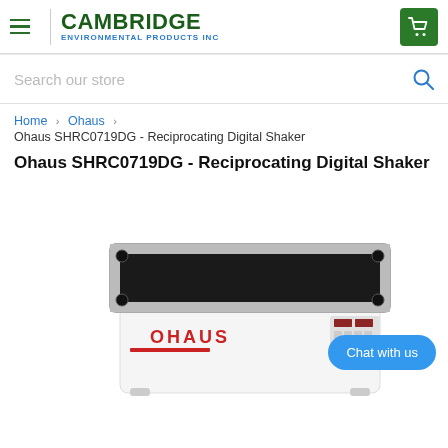CAMBRIDGE ENVIRONMENTAL PRODUCTS INC
Search our store
Home › Ohaus ›
Ohaus SHRC0719DG - Reciprocating Digital Shaker
Ohaus SHRC0719DG - Reciprocating Digital Shaker
[Figure (photo): Photo of the Ohaus SHRC0719DG Reciprocating Digital Shaker, a white lab instrument with a large black rectangular shaking platform, chrome trim, rubber corner feet, OHAUS branding in red on the front, and a digital control panel with red LED displays and buttons. A blue 'Chat with us' chat bubble overlay appears in the lower-right corner.]